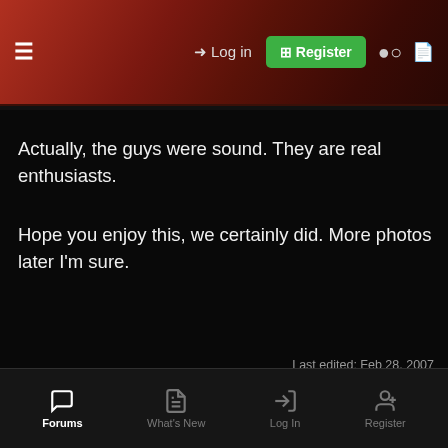Log in  Register
Actually, the guys were sound. They are real enthusiasts.

Hope you enjoy this, we certainly did. More photos later I'm sure.
Last edited: Feb 28, 2007
You must log in or register to reply here.
Share:
Similar threads
Forums  What's New  Log In  Register